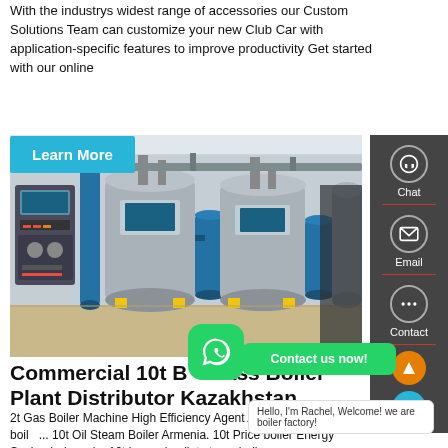With the industrys widest range of accessories our Custom Solutions Team can customize your new Club Car with application-specific features to improve productivity Get started with our online
Learn More
[Figure (photo): Industrial boiler plant room with multiple large cylindrical gas/steam boilers in grey and blue, control panels on the left side, pipes overhead]
Commercial 10t Biomass Boiler Plant Distributor Kazakhstan
2t Gas Boiler Machine High Efficiency Agent Azerbaijan 10t oil boil... 10t Oil Steam Boiler Armenia. 10t Price boiler Energy Saving Indonesia. 10t h wood pellet steam boiler -
Hello, I'm Rachel, Welcome! we are boiler factory!
Chat
Email
Contact
Contact us now!